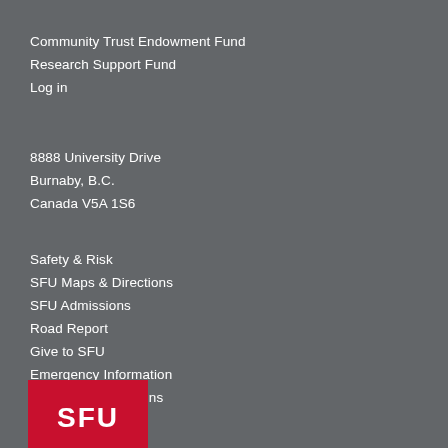Community Trust Endowment Fund
Research Support Fund
Log in
8888 University Drive
Burnaby, B.C.
Canada V5A 1S6
Safety & Risk
SFU Maps & Directions
SFU Admissions
Road Report
Give to SFU
Emergency Information
Terms and Conditions
[Figure (logo): SFU (Simon Fraser University) logo — red rectangle with white letters SFU partially visible at bottom left]